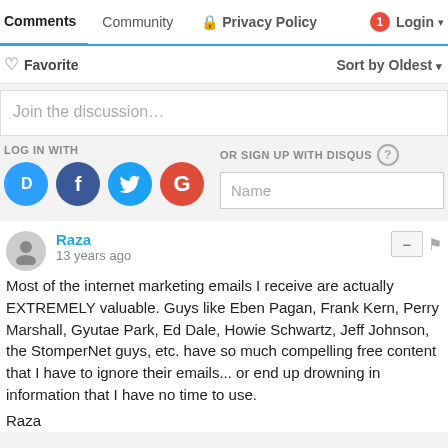Comments | Community | Privacy Policy | Login
Favorite | Sort by Oldest
Join the discussion…
LOG IN WITH
OR SIGN UP WITH DISQUS
Name
Raza
13 years ago
Most of the internet marketing emails I receive are actually EXTREMELY valuable. Guys like Eben Pagan, Frank Kern, Perry Marshall, Gyutae Park, Ed Dale, Howie Schwartz, Jeff Johnson, the StomperNet guys, etc. have so much compelling free content that I have to ignore their emails... or end up drowning in information that I have no time to use.